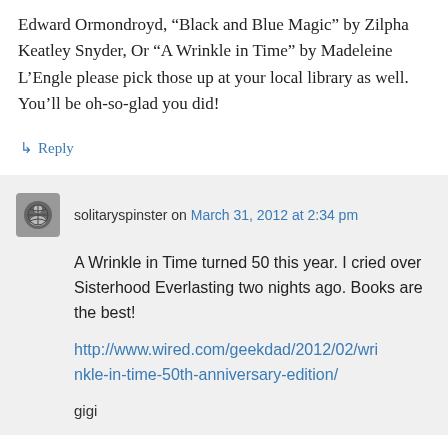Edward Ormondroyd, “Black and Blue Magic” by Zilpha Keatley Snyder, Or “A Wrinkle in Time” by Madeleine L’Engle please pick those up at your local library as well. You’ll be oh-so-glad you did!
↳ Reply
solitaryspinster on March 31, 2012 at 2:34 pm
A Wrinkle in Time turned 50 this year. I cried over Sisterhood Everlasting two nights ago. Books are the best!
http://www.wired.com/geekdad/2012/02/wrinkle-in-time-50th-anniversary-edition/
gigi